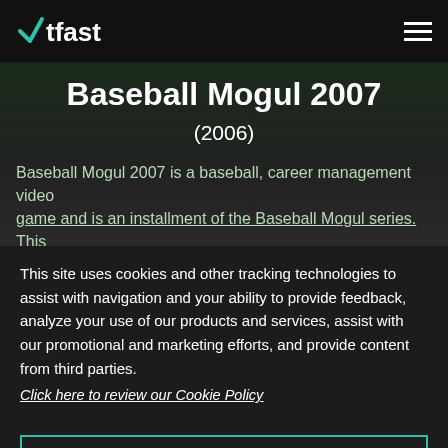WTFast (logo) — hamburger menu
Baseball Mogul 2007
(2006)
Baseball Mogul 2007 is a baseball, career management video game and is an installment of the Baseball Mogul series. This
This site uses cookies and other tracking technologies to assist with navigation and your ability to provide feedback, analyze your use of our products and services, assist with our promotional and marketing efforts, and provide content from third parties.
Click here to review our Cookie Policy
ACCEPT ALL
Accept mandatory and performance